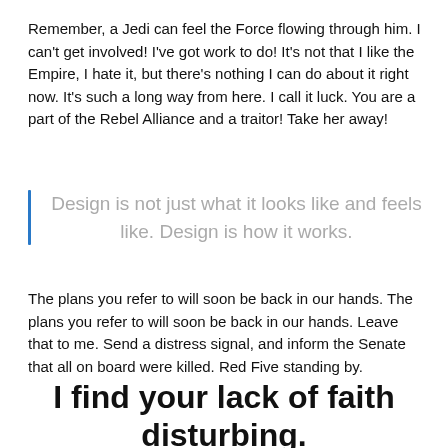Remember, a Jedi can feel the Force flowing through him. I can't get involved! I've got work to do! It's not that I like the Empire, I hate it, but there's nothing I can do about it right now. It's such a long way from here. I call it luck. You are a part of the Rebel Alliance and a traitor! Take her away!
Design is not just what it looks like and feels like. Design is how it works.
The plans you refer to will soon be back in our hands. The plans you refer to will soon be back in our hands. Leave that to me. Send a distress signal, and inform the Senate that all on board were killed. Red Five standing by.
I find your lack of faith disturbing.